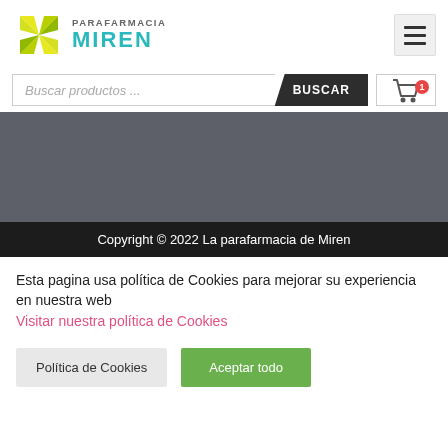[Figure (logo): Parafarmacia Miren logo with yellow/green pinwheel icon and teal MIREN text]
[Figure (screenshot): Search bar with 'Buscar productos...' placeholder, BUSCAR button, and shopping cart icon with badge '1']
[Figure (screenshot): Gray content area (dark gray background, empty)]
Copyright © 2022 La parafarmacia de Miren
Esta pagina usa política de Cookies para mejorar su experiencia en nuestra web
Visitar nuestra política de Cookies
Política de Cookies   Aceptar todo